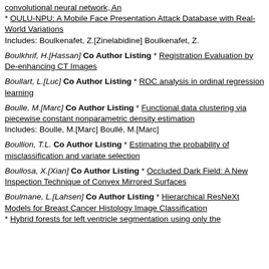convolutional neural network, An
* OULU-NPU: A Mobile Face Presentation Attack Database with Real-World Variations
Includes: Boulkenafet, Z.[Zinelabidine] Boulkenafet, Z.
Boulkhrif, H.[Hassan] Co Author Listing * Registration Evaluation by De-enhancing CT Images
Boullart, L.[Luc] Co Author Listing * ROC analysis in ordinal regression learning
Boulle, M.[Marc] Co Author Listing * Functional data clustering via piecewise constant nonparametric density estimation
Includes: Boulle, M.[Marc] Boullé, M.[Marc]
Boullion, T.L. Co Author Listing * Estimating the probability of misclassification and variate selection
Boullosa, X.[Xian] Co Author Listing * Occluded Dark Field: A New Inspection Technique of Convex Mirrored Surfaces
Boulmane, L.[Lahsen] Co Author Listing * Hierarchical ResNeXt Models for Breast Cancer Histology Image Classification
* Hybrid forests for left ventricle segmentation using only the